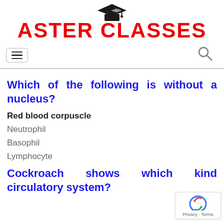[Figure (logo): Aster Classes logo with graduation cap icon and bold red text]
[Figure (screenshot): Navigation bar with hamburger menu and search icon]
Which of the following is without a nucleus?
Red blood corpuscle
Neutrophil
Basophil
Lymphocyte
Cockroach shows which kind circulatory system?